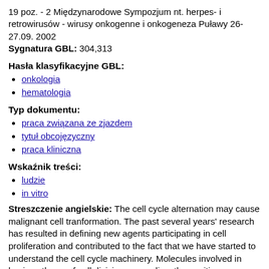19 poz. - 2 Międzynarodowe Sympozjum nt. herpes- i retrowirusów - wirusy onkogenne i onkogeneza Puławy 26-27.09. 2002
Sygnatura GBL: 304,313
Hasła klasyfikacyjne GBL:
onkologia
hematologia
Typ dokumentu:
praca związana ze zjazdem
tytuł obcojęzyczny
praca kliniczna
Wskaźnik treści:
ludzie
in vitro
Streszczenie angielskie: The cell cycle alternation may cause malignant cell tranformation. The past several years' research has resulted in defining new agents participating in cell proliferation and contributed to the fact that we have started to understand the cell cycle machinery. Molecules involved in basic pathway of cell division are cyclins, the positive regulators of cell cycle, overexpression of which is associated with uncontrolled cell